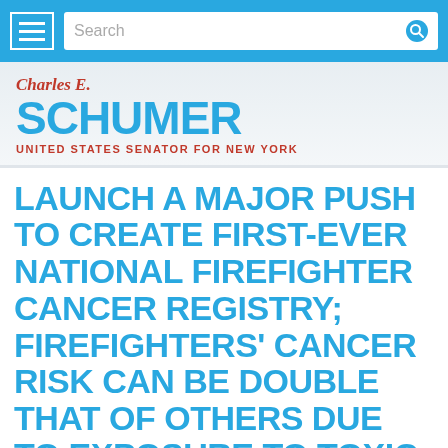Search
Charles E. Schumer — United States Senator for New York
LAUNCH A MAJOR PUSH TO CREATE FIRST-EVER NATIONAL FIREFIGHTER CANCER REGISTRY; FIREFIGHTERS' CANCER RISK CAN BE DOUBLE THAT OF OTHERS DUE TO EXPOSURE TO TOXIC CHEMICALS—BUT NO REGISTRY TO TRACK & PREVENT CANCER IN